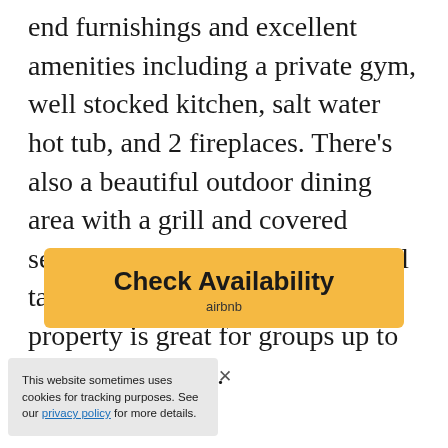end furnishings and excellent amenities including a private gym, well stocked kitchen, salt water hot tub, and 2 fireplaces. There's also a beautiful outdoor dining area with a grill and covered seating. Groups also love the pool table and sound system. This property is great for groups up to 15 people in size.
Check Availability
airbnb
This website sometimes uses cookies for tracking purposes. See our privacy policy for more details.